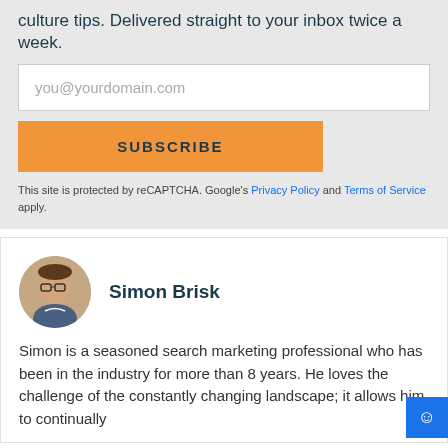culture tips. Delivered straight to your inbox twice a week.
you@yourdomain.com
SUBSCRIBE
This site is protected by reCAPTCHA. Google's Privacy Policy and Terms of Service apply.
Simon Brisk
[Figure (photo): Circular avatar photo of Simon Brisk, a man wearing glasses and a dark shirt]
Simon is a seasoned search marketing professional who has been in the industry for more than 8 years. He loves the challenge of the constantly changing landscape; it allows him to continually